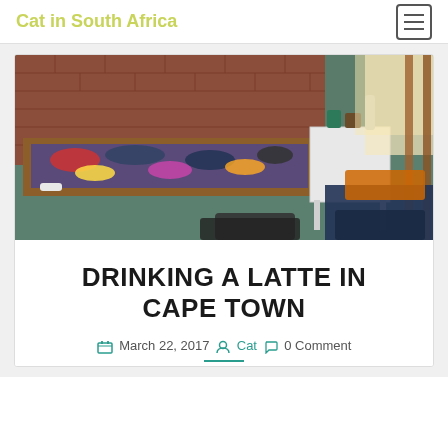Cat in South Africa
[Figure (photo): A hostel or guesthouse room with a purple daybed covered in scattered clothing and gear, a white side table with mugs and a thermos, teal carpet floor, brick wall background, and bags on another bed to the right, with sunlight streaming through a window.]
DRINKING A LATTE IN CAPE TOWN
March 22, 2017  Cat  0 Comment